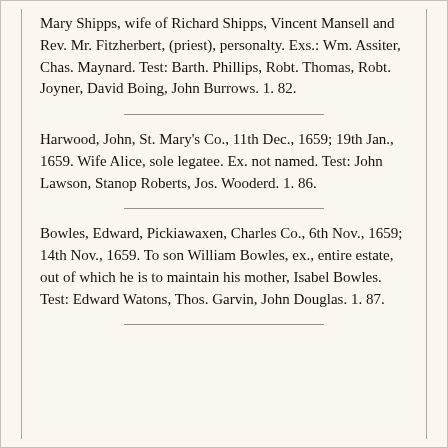Mary Shipps, wife of Richard Shipps, Vincent Mansell and Rev. Mr. Fitzherbert, (priest), personalty. Exs.: Wm. Assiter, Chas. Maynard. Test: Barth. Phillips, Robt. Thomas, Robt. Joyner, David Boing, John Burrows. 1. 82.
Harwood, John, St. Mary's Co., 11th Dec., 1659; 19th Jan., 1659. Wife Alice, sole legatee. Ex. not named. Test: John Lawson, Stanop Roberts, Jos. Wooderd. 1. 86.
Bowles, Edward, Pickiawaxen, Charles Co., 6th Nov., 1659; 14th Nov., 1659. To son William Bowles, ex., entire estate, out of which he is to maintain his mother, Isabel Bowles. Test: Edward Watons, Thos. Garvin, John Douglas. 1. 87.